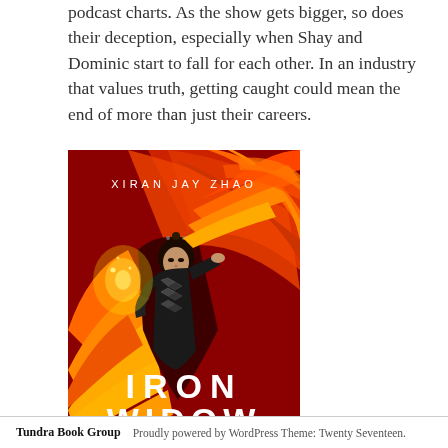podcast charts. As the show gets bigger, so does their deception, especially when Shay and Dominic start to fall for each other. In an industry that values truth, getting caught could mean the end of more than just their careers.
[Figure (illustration): Book cover for 'Iron Widow' by Xiran Jay Zhao, showing a woman in dark ornate armor with a large phoenix made of red, orange and gold feathers behind her. The title 'IRON WIDOW' is displayed at the bottom in white letters.]
Tundra Book Group   Proudly powered by WordPress Theme: Twenty Seventeen.